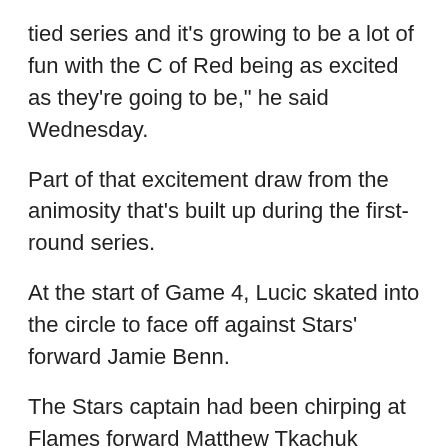tied series and it's growing to be a lot of fun with the C of Red being as excited as they're going to be," he said Wednesday.
Part of that excitement draw from the animosity that's built up during the first-round series.
At the start of Game 4, Lucic skated into the circle to face off against Stars' forward Jamie Benn.
The Stars captain had been chirping at Flames forward Matthew Tkachuk throughout the series and was also fined for high-sticking Flames forward Andrew Mangiapane.
It appeared Lucic had had enough of Benn and it looked like he gave him a message prior to